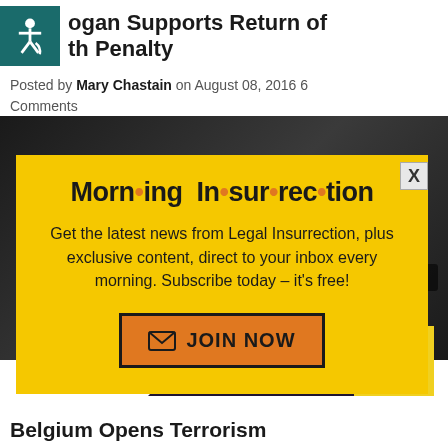ogan Supports Return of th Penalty
Posted by Mary Chastain on August 08, 2016 6 Comments
[Figure (screenshot): Dark background area with back page content showing person image]
[Figure (infographic): Modal popup with yellow background. Title: Morning Insurrection with orange dots. Text: Get the latest news from Legal Insurrection, plus exclusive content, direct to your inbox every morning. Subscribe today – it's free! Orange JOIN NOW button with envelope icon.]
[Figure (infographic): Small white box with X close button]
[Figure (infographic): The Perspective ad banner: SEE WHAT YOU'RE MISSING with READ MORE yellow button]
Belgium Opens Terrorism